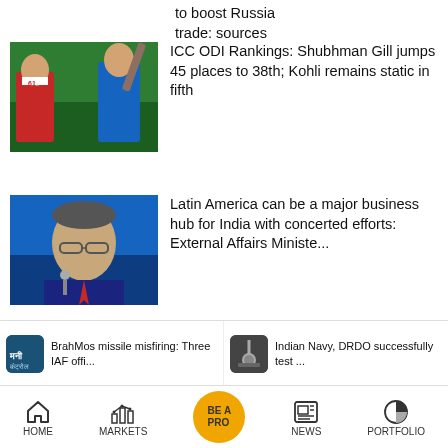to boost Russia trade: sources
[Figure (photo): Cricket match photo showing two players on a green field]
ICC ODI Rankings: Shubhman Gill jumps 45 places to 38th; Kohli remains static in fifth
[Figure (photo): Photo of a man in suit speaking at a podium with blue background]
Latin America can be a major business hub for India with concerted efforts: External Affairs Ministe...
The Ministry of Home Affairs (MHA) had on
BrahMos missile misfiring: Three IAF offi...
Indian Navy, DRDO successfully test...
HOME   MARKETS   BE A PRO   NEWS   PORTFOLIO